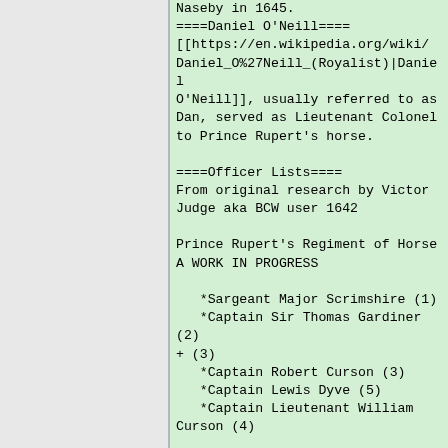Naseby in 1645.
====Daniel O'Neill====
[[https://en.wikipedia.org/wiki/Daniel_O%27Neill_(Royalist)|Daniel O'Neill]], usually referred to as Dan, served as Lieutenant Colonel to Prince Rupert's horse.
====Officer Lists====
From original research by Victor Judge aka BCW user 1642
Prince Rupert's Regiment of Horse A WORK IN PROGRESS
*Sargeant Major Scrimshire (1)
*Captain Sir Thomas Gardiner (2) + (3)
*Captain Robert Curson (3)
*Captain Lewis Dyve (5)
*Captain Lieutenant William Curson (4)
==At Newark==
E.38.10